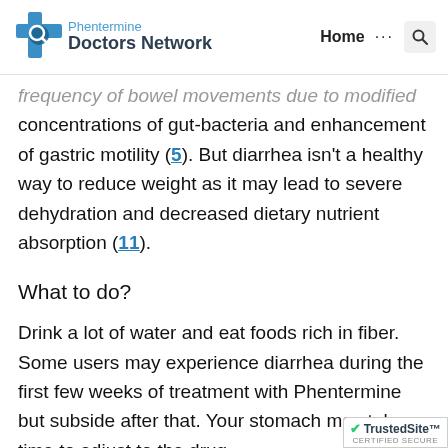Phentermine Doctors Network | Home ... [search]
frequency of bowel movements due to modified concentrations of gut-bacteria and enhancement of gastric motility (5). But diarrhea isn't a healthy way to reduce weight as it may lead to severe dehydration and decreased dietary nutrient absorption (11).
What to do?
Drink a lot of water and eat foods rich in fiber. Some users may experience diarrhea during the first few weeks of treatment with Phentermine but subside after that. Your stomach may take time to adjust to the drug itself or to the additives present in its coating